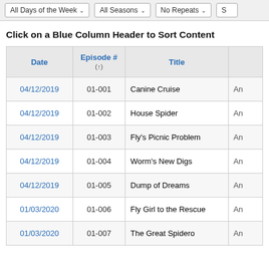All Days of the Week | All Seasons | No Repeats
Click on a Blue Column Header to Sort Content
| Date | Episode # (↑) | Title |  |
| --- | --- | --- | --- |
| 04/12/2019 | 01-001 | Canine Cruise | An |
| 04/12/2019 | 01-002 | House Spider | An |
| 04/12/2019 | 01-003 | Fly's Picnic Problem | An |
| 04/12/2019 | 01-004 | Worm's New Digs | An |
| 04/12/2019 | 01-005 | Dump of Dreams | An |
| 01/03/2020 | 01-006 | Fly Girl to the Rescue | An |
| 01/03/2020 | 01-007 | The Great Spidero | An |